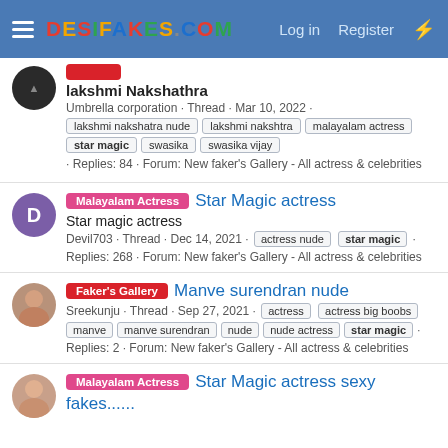DESIFAKES.COM  Log in  Register
lakshmi Nakshathra
Umbrella corporation · Thread · Mar 10, 2022 · lakshmi nakshatra nude · lakshmi nakshtra · malayalam actress · star magic · swasika · swasika vijay · Replies: 84 · Forum: New faker's Gallery - All actress & celebrities
Malayalam Actress  Star Magic actress
Star magic actress
Devil703 · Thread · Dec 14, 2021 · actress nude · star magic · Replies: 268 · Forum: New faker's Gallery - All actress & celebrities
Faker's Gallery  Manve surendran nude
Sreekunju · Thread · Sep 27, 2021 · actress · actress big boobs · manve · manve surendran · nude · nude actress · star magic · Replies: 2 · Forum: New faker's Gallery - All actress & celebrities
Malayalam Actress  Star Magic actress sexy fakes......